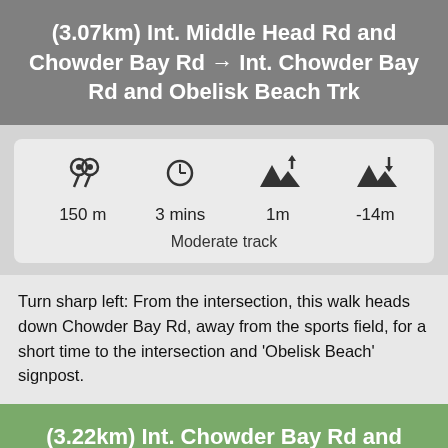(3.07km) Int. Middle Head Rd and Chowder Bay Rd → Int. Chowder Bay Rd and Obelisk Beach Trk
[Figure (infographic): Stats box with icons and values: 150 m distance, 3 mins time, 1m elevation gain, -14m elevation loss. Moderate track.]
Turn sharp left: From the intersection, this walk heads down Chowder Bay Rd, away from the sports field, for a short time to the intersection and 'Obelisk Beach' signpost.
(3.22km) Int. Chowder Bay Rd and Obelisk Beach Trk → Obelisk Beach